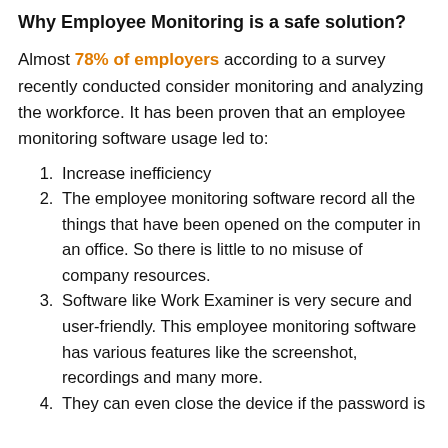Why Employee Monitoring is a safe solution?
Almost 78% of employers according to a survey recently conducted consider monitoring and analyzing the workforce. It has been proven that an employee monitoring software usage led to:
Increase inefficiency
The employee monitoring software record all the things that have been opened on the computer in an office. So there is little to no misuse of company resources.
Software like Work Examiner is very secure and user-friendly. This employee monitoring software has various features like the screenshot, recordings and many more.
They can even close the device if the password is